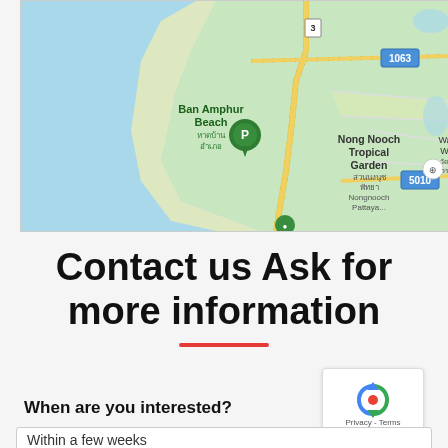[Figure (map): Google Maps screenshot showing coastal area near Ban Amphur Beach and Nong Nooch Tropical Garden, Pattaya, Thailand. Shows road 1063, road 5010, and road 3. Blue water (Gulf of Thailand) on the left, green land on the right. Location pin on Ban Amphur Beach.]
Contact us Ask for more information
[Figure (other): reCAPTCHA widget showing the Google reCAPTCHA logo (circular arrows) and 'Privacy - Terms' text]
When are you interested?
Within a few weeks